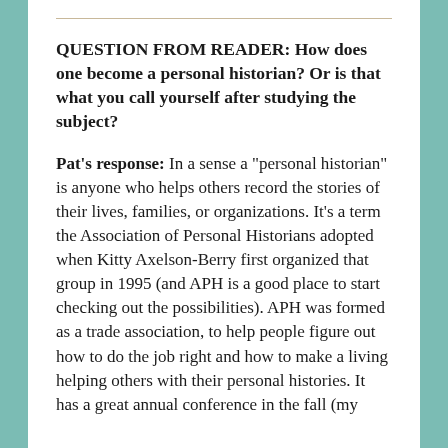QUESTION FROM READER: How does one become a personal historian? Or is that what you call yourself after studying the subject?
Pat's response: In a sense a "personal historian" is anyone who helps others record the stories of their lives, families, or organizations. It's a term the Association of Personal Historians adopted when Kitty Axelson-Berry first organized that group in 1995 (and APH is a good place to start checking out the possibilities). APH was formed as a trade association, to help people figure out how to do the job right and how to make a living helping others with their personal histories. It has a great annual conference in the fall (my